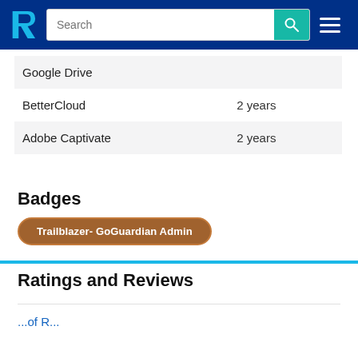TrustRadius header with search bar and navigation
| Product | Duration |
| --- | --- |
| Google Drive |  |
| BetterCloud | 2 years |
| Adobe Captivate | 2 years |
Badges
Trailblazer- GoGuardian Admin
Ratings and Reviews
...of R...